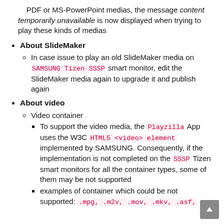PDF or MS-PowerPoint medias, the message content temporarily unavailable is now displayed when trying to play these kinds of medias
About SlideMaker
In case issue to play an old SlideMaker media on SAMSUNG Tizen SSSP smart monitor, edit the SlideMaker media again to upgrade it and publish again
About video
Video container
To support the video media, the Playzilla App uses the W3C HTML5 <video> element implemented by SAMSUNG. Consequently, if the implementation is not completed on the SSSP Tizen smart monitors for all the container types, some of them may be not supported
examples of container which could be not supported: .mpg, .m2v, .mov, .mkv, .asf,